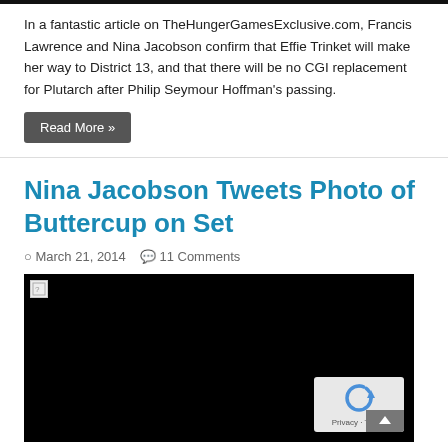In a fantastic article on TheHungerGamesExclusive.com, Francis Lawrence and Nina Jacobson confirm that Effie Trinket will make her way to District 13, and that there will be no CGI replacement for Plutarch after Philip Seymour Hoffman’s passing.
Read More »
Nina Jacobson Tweets Photo of Buttercup on Set
○ March 21, 2014  💬 11 Comments
[Figure (photo): Black image area with broken image indicator in top-left corner and reCAPTCHA overlay in bottom-right corner]